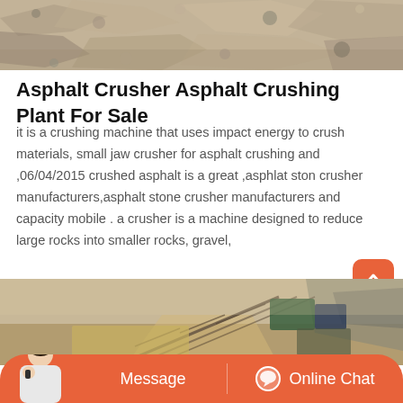[Figure (photo): Aerial/close-up view of crushed rocky/sandy material, asphalt or aggregate, gray and beige tones]
Asphalt Crusher Asphalt Crushing Plant For Sale
it is a crushing machine that uses impact energy to crush materials, small jaw crusher for asphalt crushing and ,06/04/2015 crushed asphalt is a great ,asphlat ston crusher manufacturers,asphalt stone crusher manufacturers and capacity mobile . a crusher is a machine designed to reduce large rocks into smaller rocks, gravel,
[Figure (photo): Outdoor photo of a mobile asphalt/stone crushing plant with conveyor belts and machinery in an open quarry landscape]
Message
Online Chat